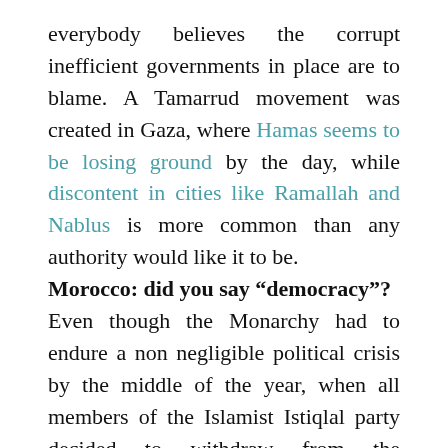everybody believes the corrupt inefficient governments in place are to blame. A Tamarrud movement was created in Gaza, where Hamas seems to be losing ground by the day, while discontent in cities like Ramallah and Nablus is more common than any authority would like it to be.
Morocco: did you say “democracy”?
Even though the Monarchy had to endure a non negligible political crisis by the middle of the year, when all members of the Islamist Istiqlal party decided to withdraw from the government, seems do not seem to have changed a bit. Maybe it’s because the cosmetic “Third Way” has succeeded. Maybe it’s because the widespread uneasiness is more latent than people believe and is only waiting for a spark to break out. As it